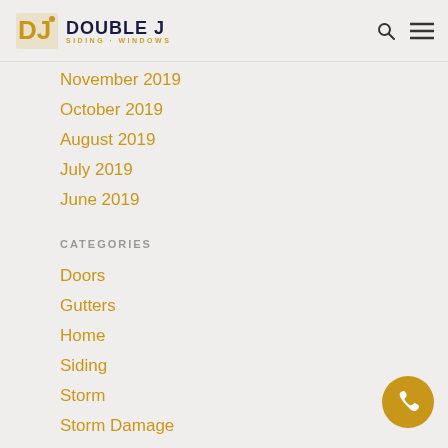Double J Siding + Windows
November 2019
October 2019
August 2019
July 2019
June 2019
CATEGORIES
Doors
Gutters
Home
Siding
Storm
Storm Damage